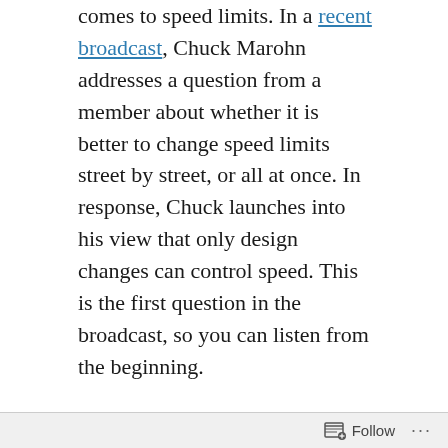comes to speed limits. In a recent broadcast, Chuck Marohn addresses a question from a member about whether it is better to change speed limits street by street, or all at once. In response, Chuck launches into his view that only design changes can control speed. This is the first question in the broadcast, so you can listen from the beginning.
Here is my response:
I have to push back against Chuck’s take on speed limits. Nothing he says is incorrect, but there is an underlying ideology that rejects changing speed limits without changing
Follow